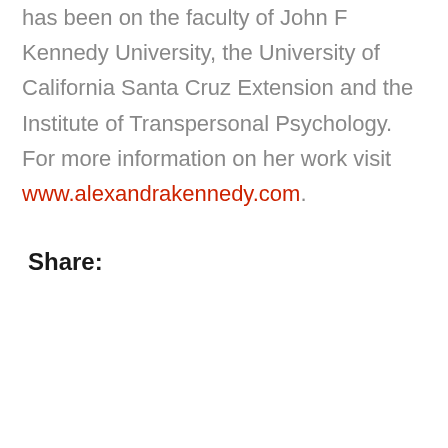has been on the faculty of John F Kennedy University, the University of California Santa Cruz Extension and the Institute of Transpersonal Psychology. For more information on her work visit www.alexandrakennedy.com.
Share:
[Figure (infographic): Social share buttons: Facebook (dark blue), Twitter (light blue), Pinterest (red), LinkedIn (dark cyan)]